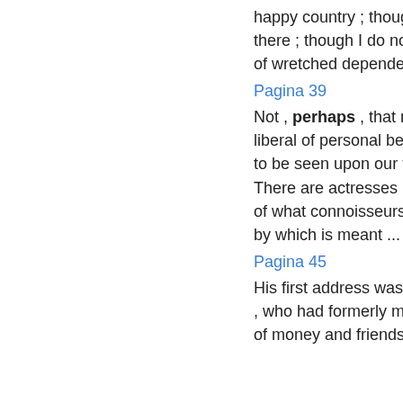happy country ; though I scorn to starve there ; though I do not choose to lead a life of wretched dependence ...
Pagina 39
Not , perhaps , that nature has been more liberal of personal beauty to her , than some to be seen upon our theatres at home . There are actresses here who have as much of what connoisseurs call ' statuary grace , by which is meant ...
Pagina 45
His first address was therefore to a scrivener , who had formerly made him frequent offers of money and friendship , at